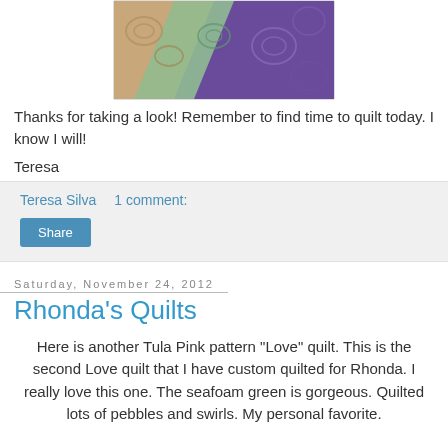[Figure (photo): Close-up photo of a quilt with swirling patterns in seafoam green, purple, and tan/brown colors]
Thanks for taking a look!  Remember to find time to quilt today.  I know I will!
Teresa
Teresa Silva    1 comment:
Share
Saturday, November 24, 2012
Rhonda's Quilts
Here is another Tula Pink pattern "Love" quilt.  This is the second Love quilt that I have custom quilted for Rhonda.  I really love this one. The seafoam green is gorgeous.  Quilted lots of pebbles and swirls.  My personal favorite.